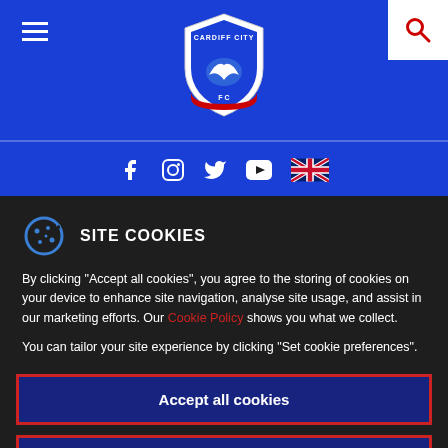[Figure (screenshot): Cardiff City FC website header with blue navigation bar, club crest/badge in center, hamburger menu on left, search icon on right]
[Figure (screenshot): Social media icons bar: Facebook, Instagram, Twitter, YouTube, and UK flag language selector]
SITE COOKIES
By clicking "Accept all cookies", you agree to the storing of cookies on your device to enhance site navigation, analyse site usage, and assist in our marketing efforts. Our Cookie Policy shows you what we collect.
You can tailor your site experience by clicking "Set cookie preferences".
Accept all cookies
Set Cookie Preferences